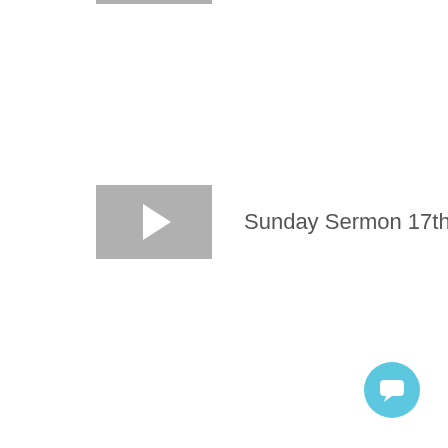[Figure (screenshot): Video thumbnail placeholder with grey background and white play button arrow (partially visible at top)]
Sunday Sermon 17th July
Sunday Sermon 10th July
Sunday 10th July
Children's Service3rd July